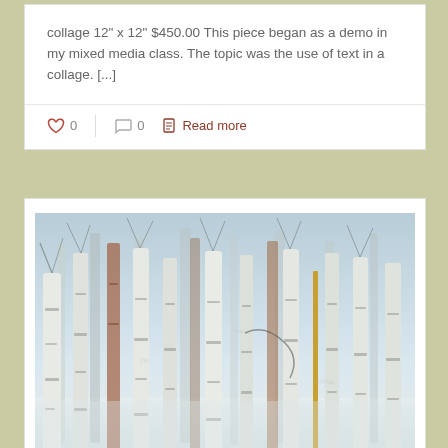collage 12" x 12" $450.00 This piece began as a demo in my mixed media class.  The topic was the use of text in a collage. [...]
0  0  Read more
[Figure (photo): A mixed-media collage artwork depicting a dense winter birch/aspen forest with tall pale tree trunks, bare branches, and muted blue, white, brown, and orange tones.]